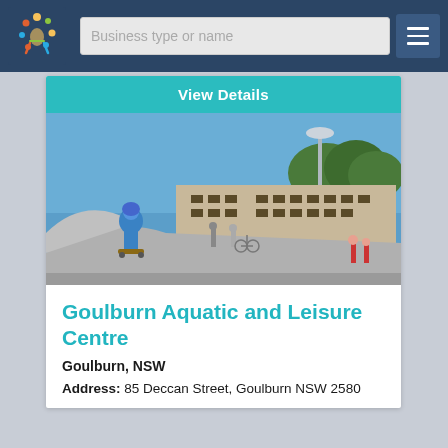Business type or name
View Details
[Figure (photo): Skatepark scene showing a skateboarder in blue helmet and jacket performing a trick on a ramp, with other youths and a building in the background under a blue sky]
Goulburn Aquatic and Leisure Centre
Goulburn, NSW
Address: 85 Deccan Street, Goulburn NSW 2580